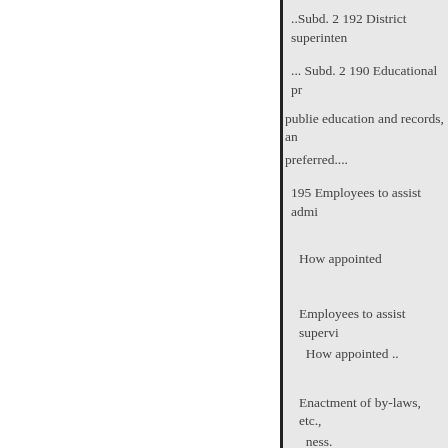..Subd. 2 192 District superinten
... Subd. 2 190 Educational pr
public education and records, an preferred....
195 Employees to assist admi
How appointed
Employees to assist supervi
How appointed ..
Enactment of by-laws, etc., ness.
Establishment of playgroun
Schools and classes
Farms